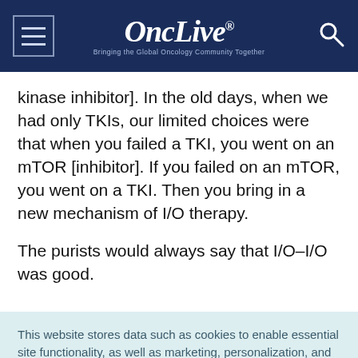[Figure (logo): OncLive logo with tagline 'Bringing the Global Oncology Community Together' on dark navy background with hamburger menu and search icon]
kinase inhibitor]. In the old days, when we had only TKIs, our limited choices were that when you failed a TKI, you went on an mTOR [inhibitor]. If you failed on an mTOR, you went on a TKI. Then you bring in a new mechanism of I/O therapy.
The purists would always say that I/O–I/O was good.
This website stores data such as cookies to enable essential site functionality, as well as marketing, personalization, and analytics. Cookie Policy
Accept
Deny